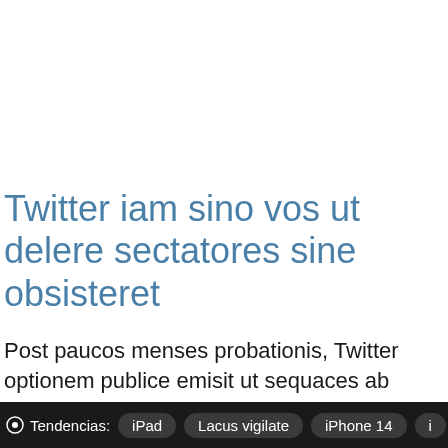Twitter iam sino vos ut delere sectatores sine obsisteret
Post paucos menses probationis, Twitter optionem publice emisit ut sequaces ab ratione nostra removendi sine obstaculo haberet.
Tendencias: iPad   Lacus vigilate   iPhone 14   i...